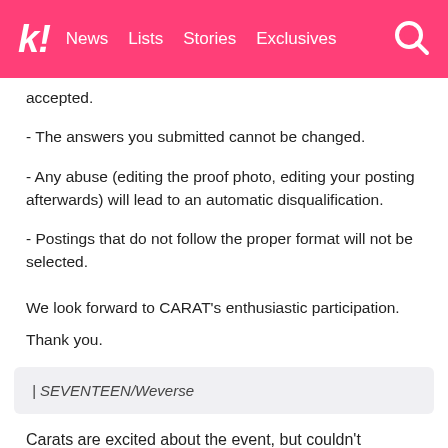k! News Lists Stories Exclusives
- The answers you submitted cannot be changed.
- Any abuse (editing the proof photo, editing your posting afterwards) will lead to an automatic disqualification.
- Postings that do not follow the proper format will not be selected.
We look forward to CARAT's enthusiastic participation.
Thank you.
| SEVENTEEN/Weverse
Carats are excited about the event, but couldn't